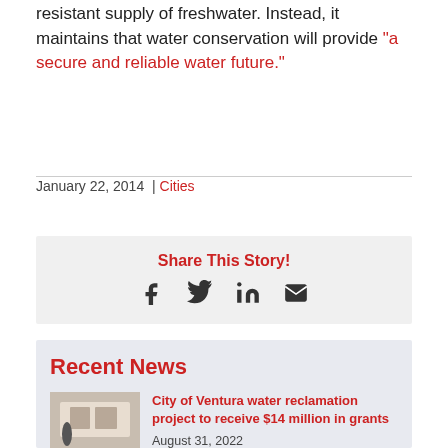resistant supply of freshwater. Instead, it maintains that water conservation will provide “a secure and reliable water future.”
January 22, 2014 | Cities
Share This Story!
Recent News
City of Ventura water reclamation project to receive $14 million in grants
August 31, 2022